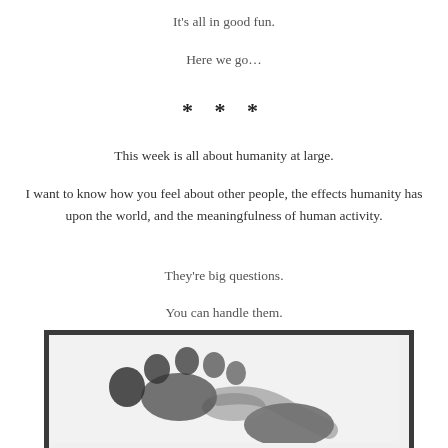It's all in good fun.
Here we go…
* * *
This week is all about humanity at large.
I want to know how you feel about other people, the effects humanity has upon the world, and the meaningfulness of human activity.
They're big questions.
You can handle them.
[Figure (photo): A black ink footprint on white background, showing toes and sole, with a dark border frame around the image.]